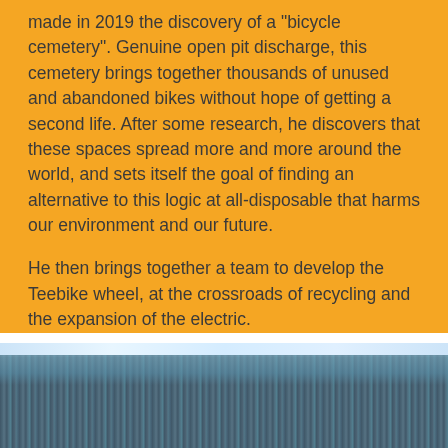made in 2019 the discovery of a "bicycle cemetery". Genuine open pit discharge, this cemetery brings together thousands of unused and abandoned bikes without hope of getting a second life. After some research, he discovers that these spaces spread more and more around the world, and sets itself the goal of finding an alternative to this logic at all-disposable that harms our environment and our future.
He then brings together a team to develop the Teebike wheel, at the crossroads of recycling and the expansion of the electric.
[Figure (photo): Aerial or close-up photograph of a bicycle cemetery or large pile of bicycles/bike parts, showing dense rows of blue-toned metallic shapes with a bright strip of light at the top]
Nous utilisons des cookies sur ce site. En continuant votre navigation sans régler votre
TOUT ACCEPTER
ACHETER LA ROUE TEEBIKE